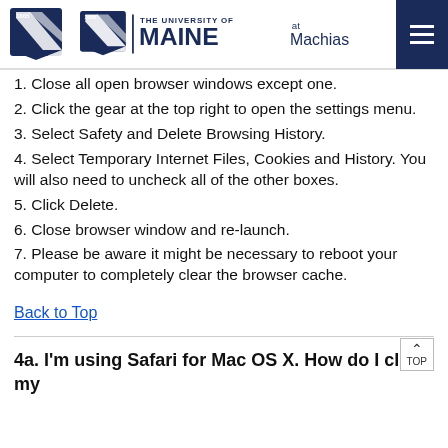THE UNIVERSITY OF MAINE at Machias
1. Close all open browser windows except one.
2. Click the gear at the top right to open the settings menu.
3. Select Safety and Delete Browsing History.
4. Select Temporary Internet Files, Cookies and History. You will also need to uncheck all of the other boxes.
5. Click Delete.
6. Close browser window and re-launch.
7. Please be aware it might be necessary to reboot your computer to completely clear the browser cache.
Back to Top
4a. I'm using Safari for Mac OS X. How do I clear my